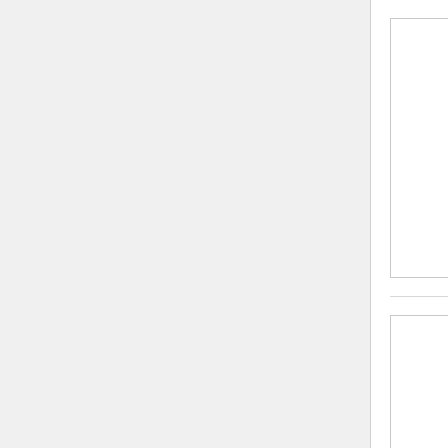[Figure (other): Thumbnail image placeholder for blog post 1]
Why External Hires Get P
2012-03-29
Here is some research sure and been passed over in fav
[Figure (other): Thumbnail image placeholder for blog post 2]
What, No Clam Chowder?
2012-03-21
You would think that the Fox available somewhere. After a England.
[Figure (other): Thumbnail image placeholder for blog post 3]
Scrub That Brand, And, B
2012-03-05
We, in Hospitality, are alway
[Figure (other): Thumbnail image placeholder for blog post 4]
All That Glitters, May Be